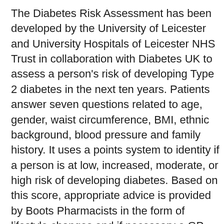The Diabetes Risk Assessment has been developed by the University of Leicester and University Hospitals of Leicester NHS Trust in collaboration with Diabetes UK to assess a person's risk of developing Type 2 diabetes in the next ten years. Patients answer seven questions related to age, gender, waist circumference, BMI, ethnic background, blood pressure and family history. It uses a points system to identity if a person is at low, increased, moderate, or high risk of developing diabetes. Based on this score, appropriate advice is provided by Boots Pharmacists in the form of lifestyle changes and if necessary a GP referral. The Diabetes Risk Assessment tool is also available online at http://www.boots.com/en/Diabetes-Find-out-your-risk-of-developing-type-2-diabetes_1298971/.